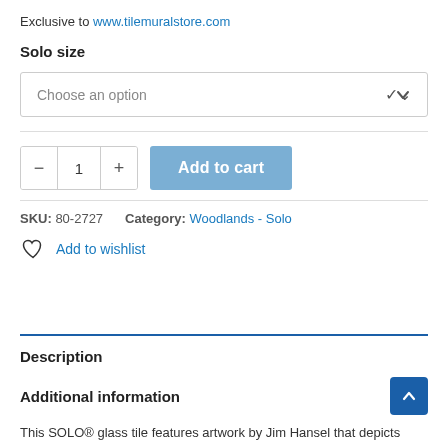Exclusive to www.tilemuralstore.com
Solo size
Choose an option
- 1 +    Add to cart
SKU: 80-2727   Category: Woodlands - Solo
Add to wishlist
Description
Additional information
This SOLO® glass tile features artwork by Jim Hansel that depicts